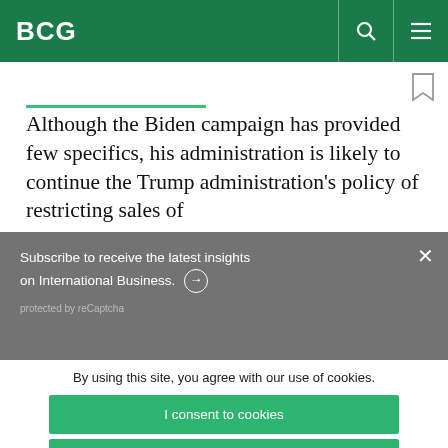BCG
Although the Biden campaign has provided few specifics, his administration is likely to continue the Trump administration’s policy of restricting sales of
Subscribe to receive the latest insights on International Business. →
protected by reCaptcha
By using this site, you agree with our use of cookies.
I consent to cookies
Want to know more?
Read our Cookie Policy